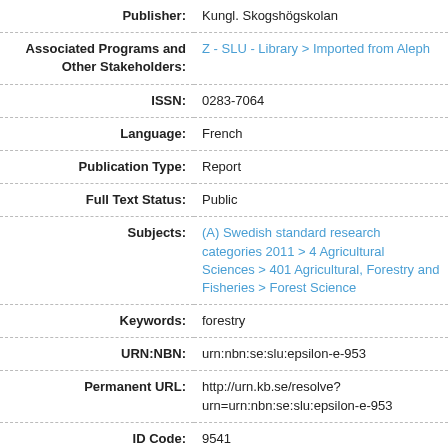| Field | Value |
| --- | --- |
| Publisher: | Kungl. Skogshögskolan |
| Associated Programs and Other Stakeholders: | Z - SLU - Library > Imported from Aleph |
| ISSN: | 0283-7064 |
| Language: | French |
| Publication Type: | Report |
| Full Text Status: | Public |
| Subjects: | (A) Swedish standard research categories 2011 > 4 Agricultural Sciences > 401 Agricultural, Forestry and Fisheries > Forest Science |
| Keywords: | forestry |
| URN:NBN: | urn:nbn:se:slu:epsilon-e-953 |
| Permanent URL: | http://urn.kb.se/resolve?urn=urn:nbn:se:slu:epsilon-e-953 |
| ID Code: | 9541 |
| Department: | Predecessors to SLU > |